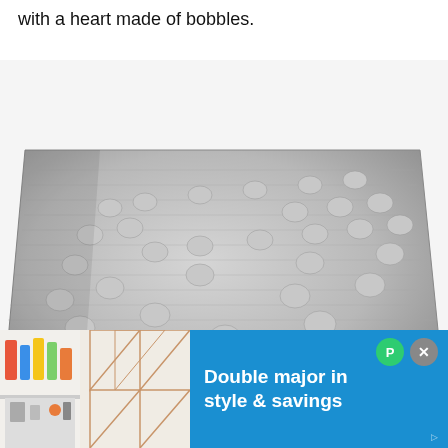with a heart made of bobbles.
[Figure (photo): A grey crochet blanket or dishcloth with a heart pattern made of bobbles, photographed at an angle on a white background. Watermark reads www.lillabjorncrochet.com]
[Figure (screenshot): Advertisement banner at the bottom of the page with a blue background. Left side shows a room interior photo. Right side shows text 'Double major in style & savings' in white on blue background. Has green P icon and grey X close button.]